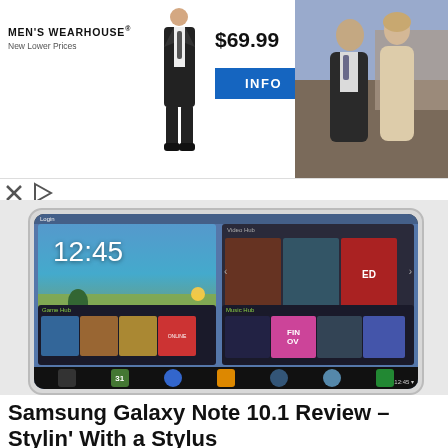[Figure (photo): Men's Wearhouse advertisement banner showing a suit priced at $69.99 with an INFO button, and a photo of a man and woman dressed formally]
[Figure (screenshot): Samsung Galaxy Note 10.1 tablet showing the home screen with clock reading 12:45, Video Hub, Game Hub, and Music Hub widgets]
Samsung Galaxy Note 10.1 Review – Stylin' With a Stylus